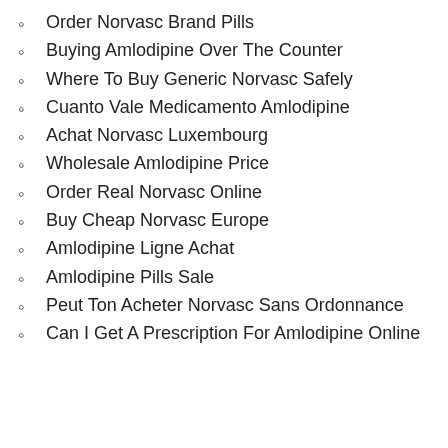Order Norvasc Brand Pills
Buying Amlodipine Over The Counter
Where To Buy Generic Norvasc Safely
Cuanto Vale Medicamento Amlodipine
Achat Norvasc Luxembourg
Wholesale Amlodipine Price
Order Real Norvasc Online
Buy Cheap Norvasc Europe
Amlodipine Ligne Achat
Amlodipine Pills Sale
Peut Ton Acheter Norvasc Sans Ordonnance
Can I Get A Prescription For Amlodipine Online